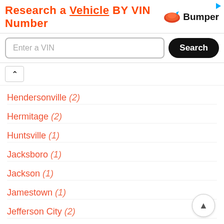[Figure (screenshot): Bumper VIN research ad banner with orange bold text 'Research a Vehicle BY VIN Number' and Bumper logo]
Enter a VIN [Search button]
Hendersonville (2)
Hermitage (2)
Huntsville (1)
Jacksboro (1)
Jackson (1)
Jamestown (1)
Jefferson City (2)
Joelton (1)
Jonesborough (2)